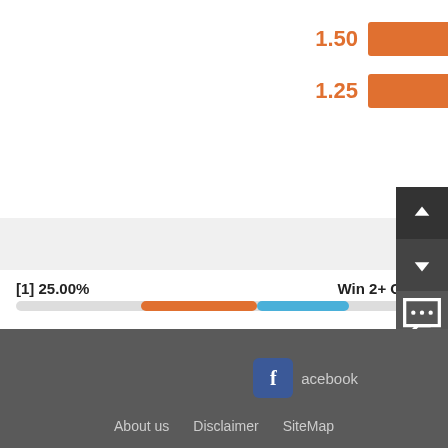[Figure (infographic): Partial view of odds bars showing 1.50 and 1.25 values with orange bars on right side]
[Figure (bar-chart): Win/Draw statistics]
[1] 25.00%
Win 2+ Goals
[0] 0.00%
Win 1 Goal
[2] 50.00%
Draw
About us   Disclaimer   SiteMap